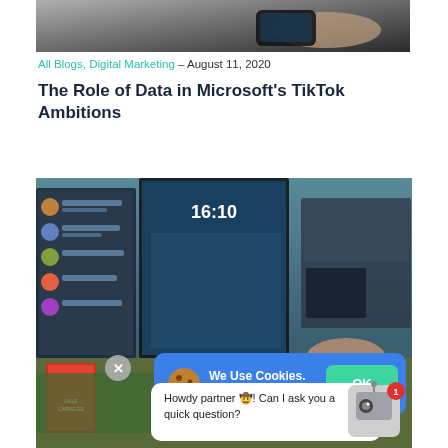[Figure (photo): Hand holding a smartphone, partial top crop]
All Blogs, Digital Marketing – August 11, 2020
The Role of Data in Microsoft's TikTok Ambitions
[Figure (screenshot): Screenshot of a computer desk setup with monitors showing a social media interface, overlaid with a cookie consent banner saying 'We Use Cookies. OK' and a chat popup saying 'Howdy partner! Can I ask you a quick question?']